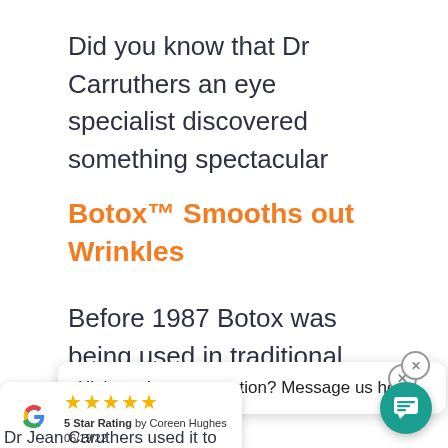Did you know that Dr Carruthers an eye specialist discovered something spectacular
Botox™ Smooths out Wrinkles
Before 1987 Botox was being used in traditional medicine.
Hi there, have a question? Message us here.
[Figure (other): Google review widget showing 5 stars, '5 Star Rating by Coreen Hughes 06/19/22']
Dr Jean Caruthers used it to